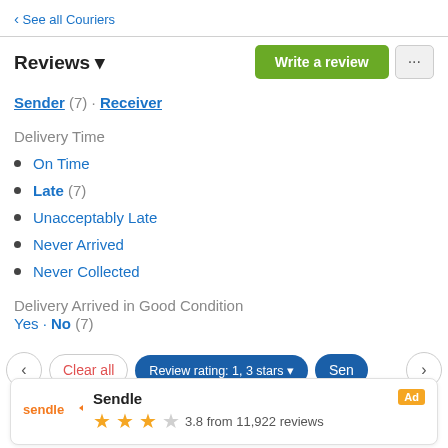‹ See all Couriers
Reviews ▾
Write a review
Sender (7) · Receiver
Delivery Time
On Time
Late (7)
Unacceptably Late
Never Arrived
Never Collected
Delivery Arrived in Good Condition
Yes · No (7)
Clear all
Review rating: 1, 3 stars ▾
Sen…
Sendle
3.8 from 11,922 reviews
Ad